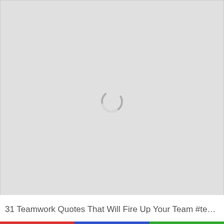[Figure (other): Large light gray loading placeholder area with a circular spinner/loading indicator centered in the upper portion of the image area.]
31 Teamwork Quotes That Will Fire Up Your Team #tea...